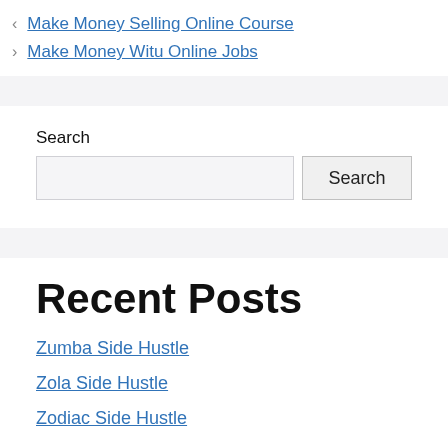< Make Money Selling Online Course
> Make Money Witu Online Jobs
Search
Search (button)
Recent Posts
Zumba Side Hustle
Zola Side Hustle
Zodiac Side Hustle